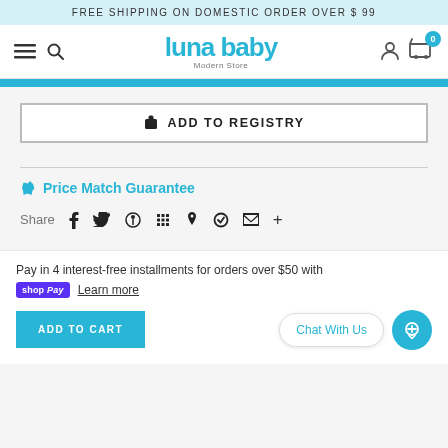FREE SHIPPING ON DOMESTIC ORDER OVER $ 99
[Figure (logo): Luna Baby Modern Store logo with hamburger menu, search icon, user icon and cart with 0 badge]
ADD TO REGISTRY
Price Match Guarantee
Share
Pay in 4 interest-free installments for orders over $50 with shop Pay Learn more
Chat With Us
ADD TO CART